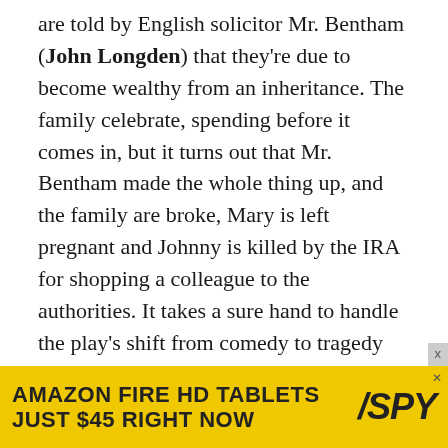are told by English solicitor Mr. Bentham (John Longden) that they're due to become wealthy from an inheritance. The family celebrate, spending before it comes in, but it turns out that Mr. Bentham made the whole thing up, and the family are broke, Mary is left pregnant and Johnny is killed by the IRA for shopping a colleague to the authorities. It takes a sure hand to handle the play's shift from comedy to tragedy (there was a terrific production a few years ago at London's National Theatre starring Ciaran Hinds), but it's not really to be found here, unfortunately. Hitchcock seems to be so enamored of being able to record dialogue that he forgets to do much but simply shoot a stage play, and many of the performers seem to forget that they're acting for camera, going for broad caricatures rather than real people. The result is that when
[Figure (other): Advertisement banner for Amazon Fire HD Tablets — yellow background with bold black text 'AMAZON FIRE HD TABLETS JUST $45 RIGHT NOW' and SPY logo in italic bold]